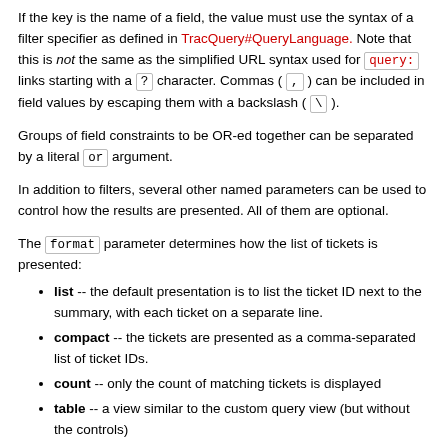If the key is the name of a field, the value must use the syntax of a filter specifier as defined in TracQuery#QueryLanguage. Note that this is not the same as the simplified URL syntax used for query: links starting with a ? character. Commas ( , ) can be included in field values by escaping them with a backslash ( \ ).
Groups of field constraints to be OR-ed together can be separated by a literal or argument.
In addition to filters, several other named parameters can be used to control how the results are presented. All of them are optional.
The format parameter determines how the list of tickets is presented:
list -- the default presentation is to list the ticket ID next to the summary, with each ticket on a separate line.
compact -- the tickets are presented as a comma-separated list of ticket IDs.
count -- only the count of matching tickets is displayed
table -- a view similar to the custom query view (but without the controls)
progress -- a view similar to the milestone progress bars
The max parameter can be used to limit the number of tickets shown (defaults to 0, i.e. no maximum).
The order parameter sets the field used for ordering tickets (defaults to id).
The desc parameter...